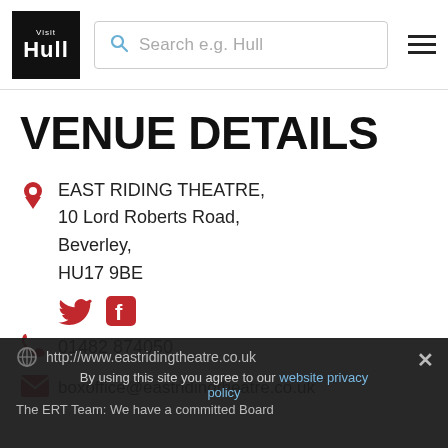Visit Hull — Search e.g. Hull (navigation header with logo and hamburger menu)
VENUE DETAILS
EAST RIDING THEATRE, 10 Lord Roberts Road, Beverley, HU17 9BE
Twitter and Facebook social icons
01482 874050
boxoffice@eastridingtheatre.co.uk
http://www.eastridingtheatre.co.uk — By using this site you agree to our website privacy policy — The ERT Team: We have a committed Board